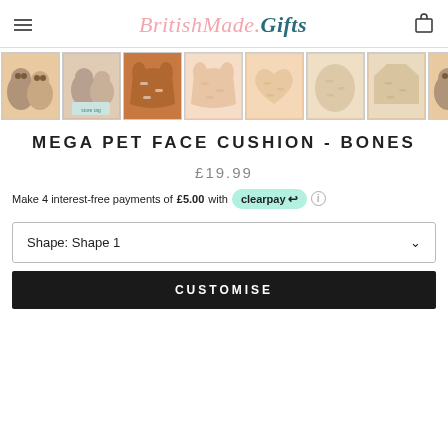BritishMade.Gifts
[Figure (photo): Row of product thumbnail images showing pet face cushion variants with bone pattern in various shapes and colors]
MEGA PET FACE CUSHION - BONES
£19.99
Make 4 interest-free payments of £5.00 with clearpay
Shape: Shape 1
CUSTOMISE